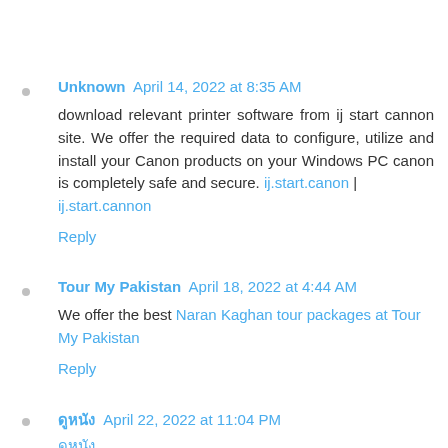Unknown  April 14, 2022 at 8:35 AM
download relevant printer software from ij start cannon site. We offer the required data to configure, utilize and install your Canon products on your Windows PC canon is completely safe and secure. ij.start.canon | ij.start.cannon
Reply
Tour My Pakistan  April 18, 2022 at 4:44 AM
We offer the best Naran Kaghan tour packages at Tour My Pakistan
Reply
ดูหนัง  April 22, 2022 at 11:04 PM
ดูหนัง
Reply